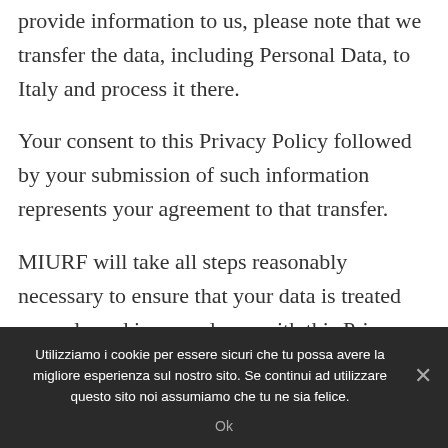provide information to us, please note that we transfer the data, including Personal Data, to Italy and process it there.
Your consent to this Privacy Policy followed by your submission of such information represents your agreement to that transfer.
MIURF will take all steps reasonably necessary to ensure that your data is treated securely and in accordance with this Privacy Policy and no transfer of your Personal Data will take place to an organization or a country unless there are
Utilizziamo i cookie per essere sicuri che tu possa avere la migliore esperienza sul nostro sito. Se continui ad utilizzare questo sito noi assumiamo che tu ne sia felice.
Ok